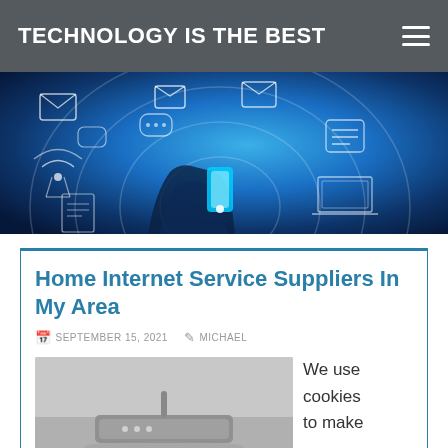TECHNOLOGY IS THE BEST
[Figure (photo): Hero banner image: person wearing suit pressing glowing smartphone icon with technology communication icons floating around (email, chat, wifi, mobile, laptop) on a blue digital background]
Home Internet Service Suppliers In My Area
SEPTEMBER 15, 2021   MICHAEL
[Figure (photo): Photo of a wireless router device (gray/silver) on a light background]
We use cookies to make